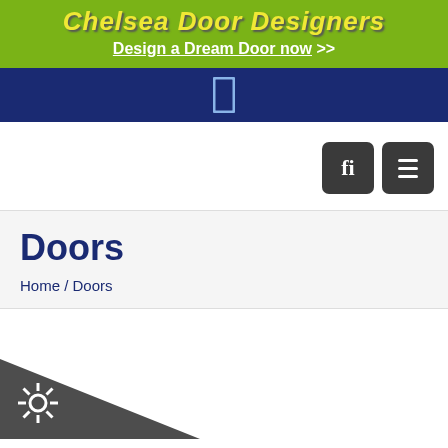Chelsea Door Designers — Design a Dream Door now >>
[Figure (screenshot): Dark navy navigation bar with a door/rectangle icon in the center]
[Figure (screenshot): White toolbar area with two dark square icon buttons (search/fi and hamburger menu) on the right]
Doors
Home / Doors
[Figure (illustration): Dark grey triangular shape in the bottom-left corner with a gear/settings icon]